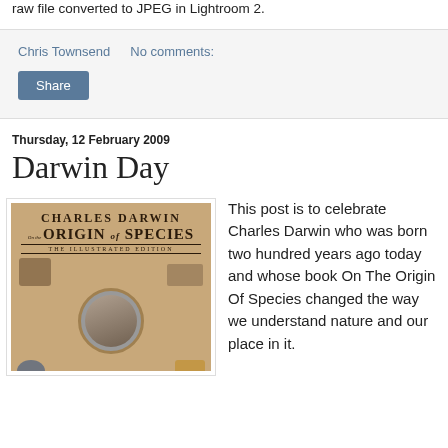raw file converted to JPEG in Lightroom 2.
Chris Townsend    No comments:
Share
Thursday, 12 February 2009
Darwin Day
[Figure (photo): Book cover of 'Charles Darwin On the Origin of Species: The Illustrated Edition' showing Darwin's portrait and various animals]
This post is to celebrate Charles Darwin who was born two hundred years ago today and whose book On The Origin Of Species changed the way we understand nature and our place in it.